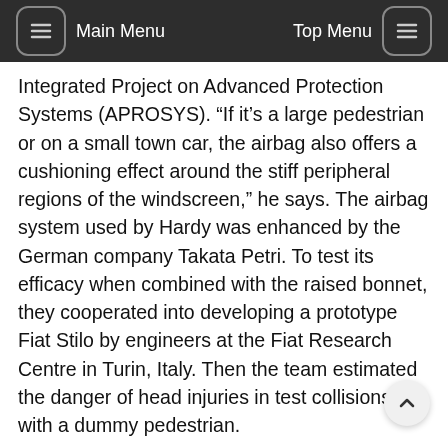Main Menu | Top Menu
Integrated Project on Advanced Protection Systems (APROSYS). “If it’s a large pedestrian or on a small town car, the airbag also offers a cushioning effect around the stiff peripheral regions of the windscreen,” he says. The airbag system used by Hardy was enhanced by the German company Takata Petri. To test its efficacy when combined with the raised bonnet, they cooperated into developing a prototype Fiat Stilo by engineers at the Fiat Research Centre in Turin, Italy. Then the team estimated the danger of head injuries in test collisions with a dummy pedestrian.
A standard Stilo test hitting a pedestrian at 40 kilometres per hour would have a score of around 1,000 on the Head Impact Criterion (HIC) scale. That is the equivalent of an 18% chance of a life-threatening injury. For pedestrians hitting Hardy’s bonnet, the scores were reduced to between 234 and 682, whilst the